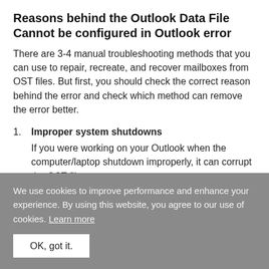Reasons behind the Outlook Data File Cannot be configured in Outlook error
There are 3-4 manual troubleshooting methods that you can use to repair, recreate, and recover mailboxes from OST files. But first, you should check the correct reason behind the error and check which method can remove the error better.
1. Improper system shutdowns
If you were working on your Outlook when the computer/laptop shutdown improperly, it can corrupt the OST file.
We use cookies to improve performance and enhance your experience. By using this website, you agree to our use of cookies. Learn more
OK, got it.